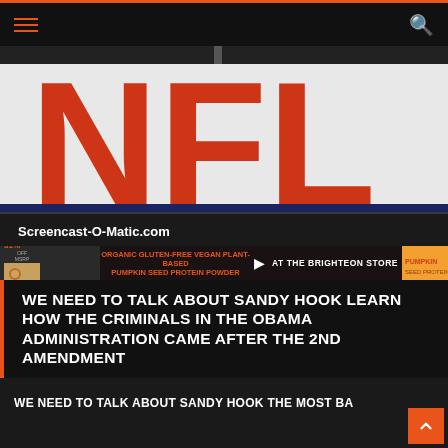Navigation bar with hamburger menu and search icon
[Figure (photo): NFL shield/logo banner photo showing large red NFL letters on white field background with text 'Screencast-O-Matic.com' overlay at bottom]
[Figure (infographic): Advertisement banner: '31% OFF' organic gluten-free vegan plant-based pumpkin seed protein powder at the Brighteon Store]
WE NEED TO TALK ABOUT SANDY HOOK LEARN HOW THE CRIMINALS IN THE OBAMA ADMINISTRATION CAME AFTER THE 2ND AMENDMENT
WE NEED TO TALK ABOUT SANDY HOOK THE MOST BA
No compatible source was found for this media.
Fair Use of Copyrighted Material
Material presented in this video is done so in compliance with fair use principles. Use of the ma... illustrating the media's reporting of crimes and commenting critically on matters related to cri... material in this video generates social benefits that greatly outweigh any cost to the copyright owner, and is th... protected form of speech. Fair use is a right, not a mere privilege.